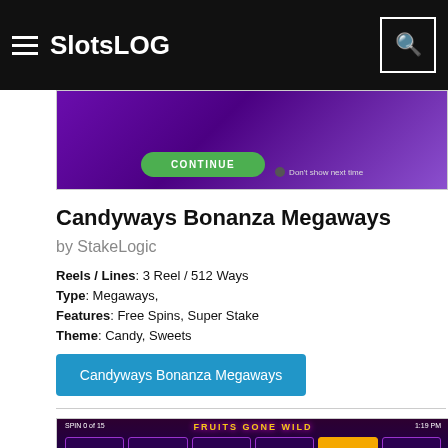SlotsLOG
[Figure (screenshot): Purple casino game splash screen with a green CONTINUE button and 'Don't show next time' checkbox]
Candyways Bonanza Megaways
by StakeLogic
Reels / Lines: 3 Reel / 512 Ways
Type: Megaways,
Features: Free Spins, Super Stake
Theme: Candy, Sweets
[Figure (screenshot): Fruits Gone Wild slot machine game screenshot showing fruit symbols and BONUS tiles on colorful reels]